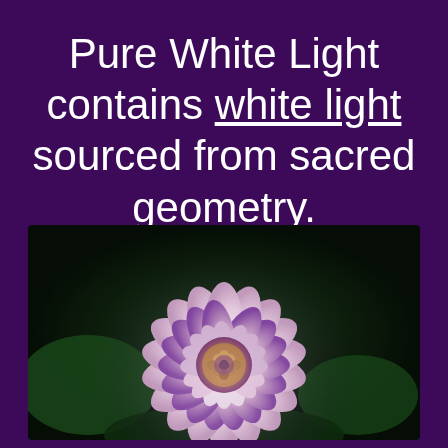Pure White Light contains white light sourced from sacred geometry.
[Figure (photo): Close-up photograph of a dahlia flower with white and light purple petals arranged in a spiral pattern, with a yellow and purple center, set against a dark green background.]